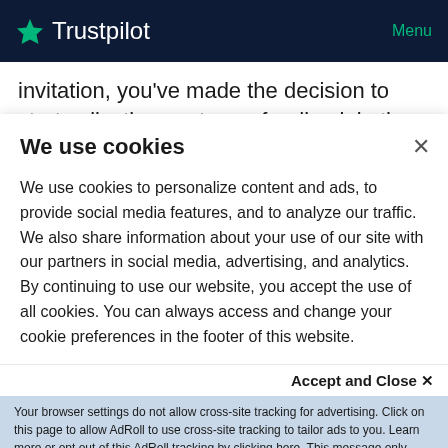Trustpilot  Menu
invitation, you’ve made the decision to start collecting customer feedback in the form of reviews. You’re on the path to success, but the work isn’t all over.
Choosing how to collect feedback is important to ensure
We use cookies
We use cookies to personalize content and ads, to provide social media features, and to analyze our traffic. We also share information about your use of our site with our partners in social media, advertising, and analytics. By continuing to use our website, you accept the use of all cookies. You can always access and change your cookie preferences in the footer of this website.
Accept and Close ×
Your browser settings do not allow cross-site tracking for advertising. Click on this page to allow AdRoll to use cross-site tracking to tailor ads to you. Learn more or opt out of this AdRoll tracking by clicking here. This message only appears once.